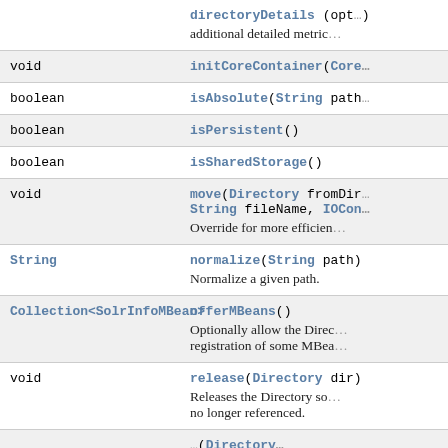| Type | Method and Description |
| --- | --- |
|  | directoryDetails (opt...)
additional detailed metric... |
| void | initCoreContainer(Core... |
| boolean | isAbsolute(String path... |
| boolean | isPersistent() |
| boolean | isSharedStorage() |
| void | move(Directory fromDir... String fileName, IOCon...
Override for more efficien... |
| String | normalize(String path)
Normalize a given path. |
| Collection<SolrInfoMBean> | offerMBeans()
Optionally allow the Direc... registration of some MBea... |
| void | release(Directory dir)
Releases the Directory so... no longer referenced. |
|  | ...(Directory...) |